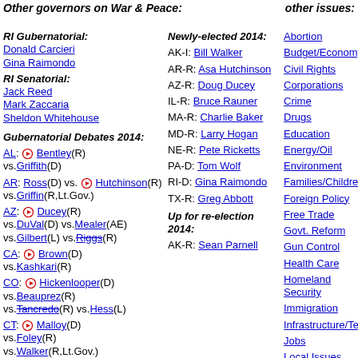Other governors on War & Peace: / other issues:
RI Gubernatorial: Donald Carcieri, Gina Raimondo
RI Senatorial: Jack Reed, Mark Zaccaria, Sheldon Whitehouse
Gubernatorial Debates 2014:
AL: [play] Bentley(R) vs.Griffith(D)
AR: Ross(D) vs. [play] Hutchinson(R) vs.Griffin(R,Lt.Gov.)
AZ: [play] Ducey(R) vs.DuVal(D) vs.Mealer(AE) vs.Gilbert(L) vs.Riggs(R)
CA: [play] Brown(D) vs.Kashkari(R)
CO: [play] Hickenlooper(D) vs.Beauprez(R) vs.Tancredo(R) vs.Hess(L)
CT: [play] Malloy(D) vs.Foley(R) vs.Walker(R,Lt.Gov.)
Newly-elected 2014:
AK-I: Bill Walker
AR-R: Asa Hutchinson
AZ-R: Doug Ducey
IL-R: Bruce Rauner
MA-R: Charlie Baker
MD-R: Larry Hogan
NE-R: Pete Ricketts
PA-D: Tom Wolf
RI-D: Gina Raimondo
TX-R: Greg Abbott
Up for re-election 2014:
AK-R: Sean Parnell
Abortion
Budget/Economy
Civil Rights
Corporations
Crime
Drugs
Education
Energy/Oil
Environment
Families/Children
Foreign Policy
Free Trade
Govt. Reform
Gun Control
Health Care
Homeland Security
Immigration
Infrastructure/Technology
Jobs
Local Issues
Principles/Values
Social Security
Tax Reform
War/Iraq/Mideast
Welfare/Poverty
Term-Limited or Retiring 2014: